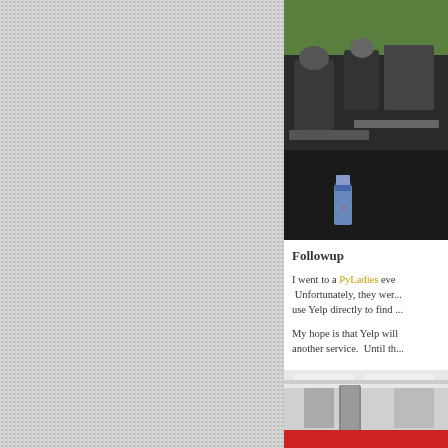[Figure (photo): Photo of people sitting in an office or event space with chairs, a table, and a soda can visible. Green wall in background.]
Followup
I went to a PyLadies eve... Unfortunately, they wer... use Yelp directly to find ...
My hope is that Yelp will... another service.  Until th...
[Figure (photo): Photo of an indoor space with ceiling lights and a stone or concrete pillar, red accents visible at the bottom.]